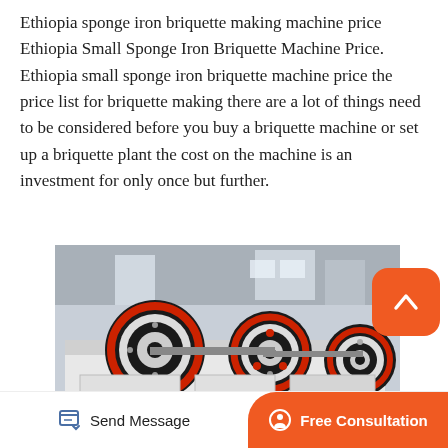Ethiopia sponge iron briquette making machine price Ethiopia Small Sponge Iron Briquette Machine Price. Ethiopia small sponge iron briquette machine price the price list for briquette making there are a lot of things need to be considered before you buy a briquette machine or set up a briquette plant the cost on the machine is an investment for only once but further.
[Figure (photo): Industrial briquette/jaw crusher machine with large black rubber-rimmed red-accented flywheels, white metal frame, photographed in a factory setting.]
Send Message
Free Consultation